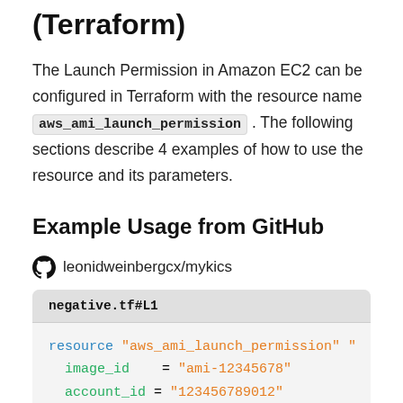(Terraform)
The Launch Permission in Amazon EC2 can be configured in Terraform with the resource name aws_ami_launch_permission . The following sections describe 4 examples of how to use the resource and its parameters.
Example Usage from GitHub
leonidweinbergcx/mykics
[Figure (screenshot): Code block showing Terraform resource definition. Filename: negative.tf#L1. Code: resource "aws_ami_launch_permission" " { image_id = "ami-12345678" account_id = "123456789012" }]